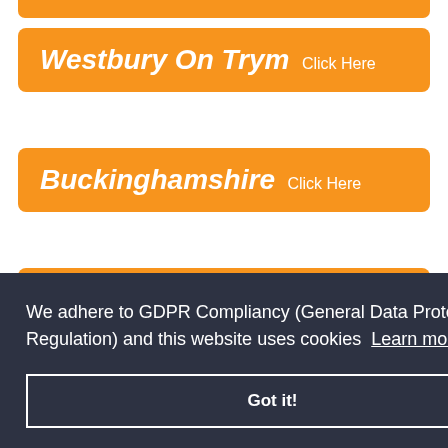Westbury On Trym  Click Here
Buckinghamshire  Click Here
Amersham  Click Here
We adhere to GDPR Compliancy (General Data Protection Regulation) and this website uses cookies  Learn more
Got it!